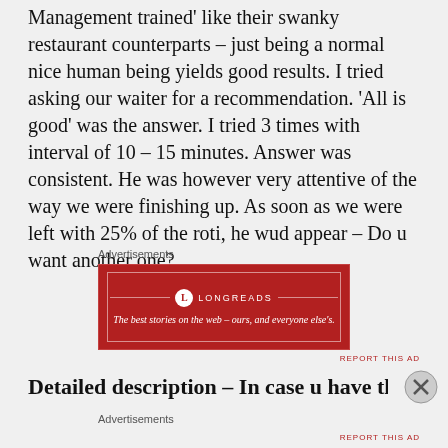Management trained' like their swanky restaurant counterparts – just being a normal nice human being yields good results. I tried asking our waiter for a recommendation. 'All is good' was the answer. I tried 3 times with interval of 10 – 15 minutes. Answer was consistent. He was however very attentive of the way we were finishing up. As soon as we were left with 25% of the roti, he wud appear – Do u want another one?
Advertisements
[Figure (other): Longreads advertisement banner: red background with Longreads logo and tagline 'The best stories on the web – ours, and everyone else's.']
Detailed description – In case u have the time
Advertisements